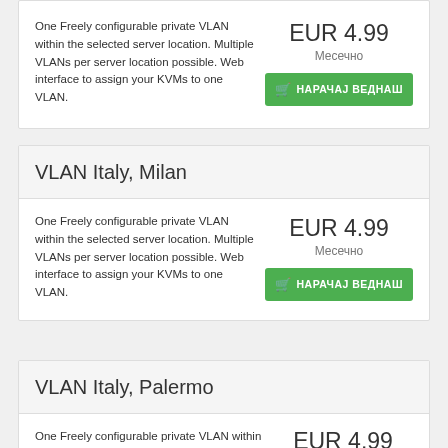One Freely configurable private VLAN within the selected server location. Multiple VLANs per server location possible. Web interface to assign your KVMs to one VLAN.
EUR 4.99 Месечно
НАРАЧАЈ ВЕДНАШ
VLAN Italy, Milan
One Freely configurable private VLAN within the selected server location. Multiple VLANs per server location possible. Web interface to assign your KVMs to one VLAN.
EUR 4.99 Месечно
НАРАЧАЈ ВЕДНАШ
VLAN Italy, Palermo
One Freely configurable private VLAN within the selected server location. Multiple VLANs per server location possible. Web interface to assign your
EUR 4.99 Месечно